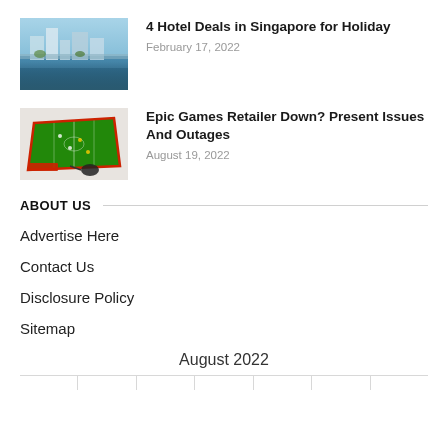[Figure (photo): Thumbnail image of a Singapore waterfront hotel/marina scene from aerial view]
4 Hotel Deals in Singapore for Holiday
February 17, 2022
[Figure (photo): Thumbnail image of an electronic football game board with a mouse/controller]
Epic Games Retailer Down? Present Issues And Outages
August 19, 2022
ABOUT US
Advertise Here
Contact Us
Disclosure Policy
Sitemap
August 2022